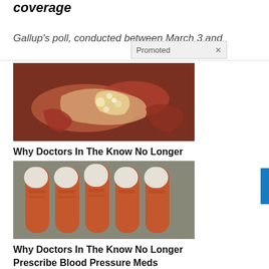coverage
Gallup's poll, conducted between March 3 and
Promoted ×
[Figure (photo): Close-up medical image of internal organ tissue, likely pancreas]
Why Doctors In The Know No Longer Prescribe Metformin
🔥 105,040
[Figure (photo): Row of prescription medication bottles (amber/brown) arranged in a line]
Why Doctors In The Know No Longer Prescribe Blood Pressure Meds
🔥 113,210